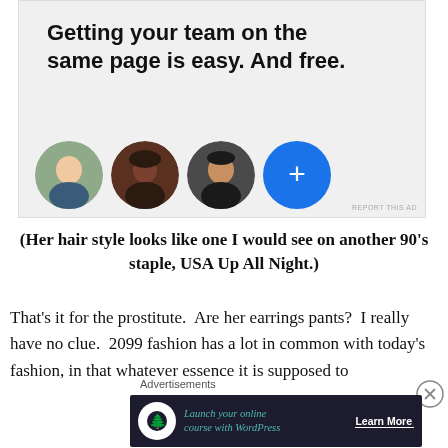[Figure (other): Advertisement banner with bold headline 'Getting your team on the same page is easy. And free.' and four circular avatars (three person photos and one blue plus button)]
(Her hair style looks like one I would see on another 90's staple, USA Up All Night.)
That's it for the prostitute.  Are her earrings pants?  I really have no clue.  2099 fashion has a lot in common with today's fashion, in that whatever essence it is supposed to
[Figure (other): Bottom advertisement banner: 'Launch your online course with WordPress' with 'Learn More' CTA button on dark navy background]